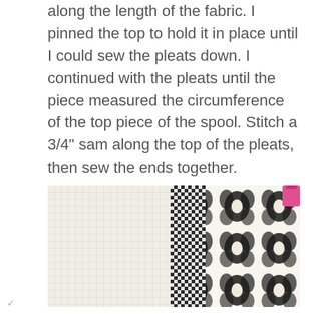along the length of the fabric. I pinned the top to hold it in place until I could sew the pleats down. I continued with the pleats until the piece measured the circumference of the top piece of the spool. Stitch a 3/4" sam along the top of the pleats, then sew the ends together.
[Figure (photo): A photograph showing fabric laid flat: a white/cream gridded fabric on the left, a black and white checkered strip in the middle, and a black floral patterned fabric on the right with a pink item partially visible at the top right corner.]